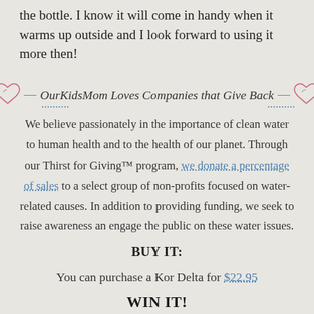the bottle. I know it will come in handy when it warms up outside and I look forward to using it more then!
OurKidsMom Loves Companies that Give Back
We believe passionately in the importance of clean water to human health and to the health of our planet. Through our Thirst for Giving™ program, we donate a percentage of sales to a select group of non-profits focused on water-related causes. In addition to providing funding, we seek to raise awareness an engage the public on these water issues.
BUY IT:
You can purchase a Kor Delta for $22.95
WIN IT!